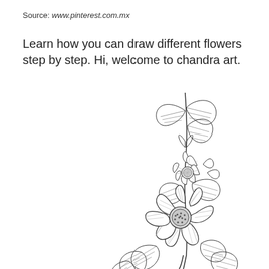Source: www.pinterest.com.mx
Learn how you can draw different flowers step by step. Hi, welcome to chandra art.
[Figure (illustration): A detailed pencil sketch illustration of a flowering branch with two large daisy-like flowers (cosmos flowers) with textured centers, multiple leaves with cross-hatching shading, and a stem extending upward with smaller buds and leaves at the top. The drawing is in black and white line art style.]